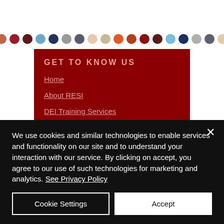[Figure (illustration): Row of colored circles/dots in various colors: terracotta, dark red, dark maroon, light blue, navy, gray, dark gray, light peach, beige, orange, burnt orange, dark red, dark maroon, light blue, navy, light gray, dark gray, light peach]
GET TO KNOW US
Home
About RESI
DEI Training Services
About Dr. J's
We use cookies and similar technologies to enable services and functionality on our site and to understand your interaction with our service. By clicking on accept, you agree to our use of such technologies for marketing and analytics. See Privacy Policy
Cookie Settings
Accept